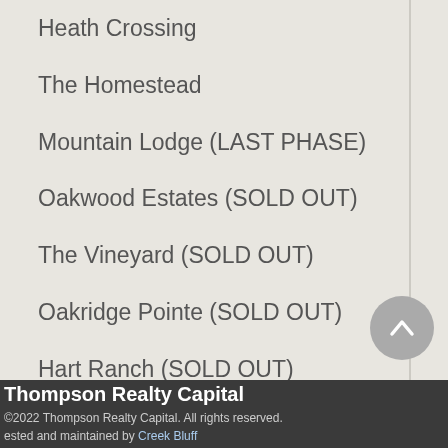Heath Crossing
The Homestead
Mountain Lodge (LAST PHASE)
Oakwood Estates (SOLD OUT)
The Vineyard (SOLD OUT)
Oakridge Pointe (SOLD OUT)
Hart Ranch (SOLD OUT)
Creekview Estates (SOLD
Thompson Realty Capital
© 2022 Thompson Realty Capital. All rights reserved.
Hosted and maintained by Creek Bluff